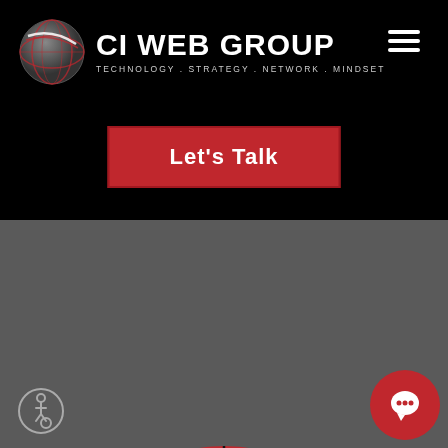[Figure (logo): CI Web Group logo with globe icon and tagline: TECHNOLOGY . STRATEGY . NETWORK . MINDSET]
Let's Talk
[Figure (infographic): Circular radar/wheel diagram showing digital marketing ecosystem with concentric rings. Center has CI Web Group logo. Inner ring segments: TECHNOLOGY, WEBSITE, CONTENT, CONVERSIONS, BRANDING. Middle ring: LOCAL, RADIO, CONTENT, CONVERSIONS, SEO, OTT. Outer ring segments: DIRECT MAIL, PPC, SEO, OTT, SOCIAL MEDIA, RADIO. Top label: CONSUMERS. Color scheme: red and black alternating segments.]